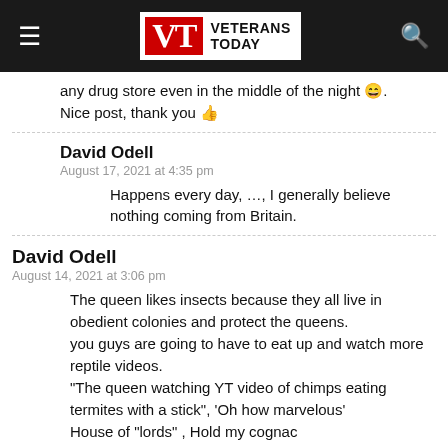Veterans Today
any drug store even in the middle of the night 😄. Nice post, thank you 👍
David Odell
August 17, 2021 at 4:35 pm
Happens every day, …, I generally believe nothing coming from Britain.
David Odell
August 14, 2021 at 3:06 pm
The queen likes insects because they all live in obedient colonies and protect the queens.
you guys are going to have to eat up and watch more reptile videos.
"The queen watching YT video of chimps eating termites with a stick", 'Oh how marvelous'
House of "lords" , Hold my cognac